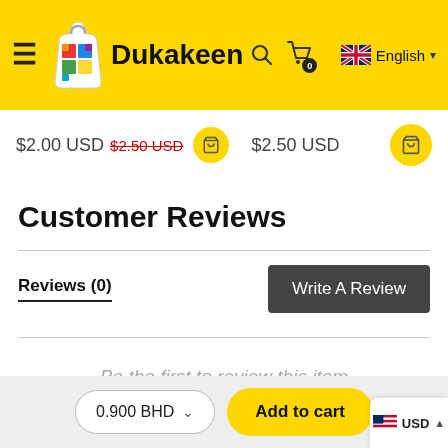Dukakeen
$2.00 USD  $2.50 USD  $2.50 USD
Customer Reviews
Reviews (0)
Write A Review
Be the first to review this item
0.900 BHD  Add to cart  USD